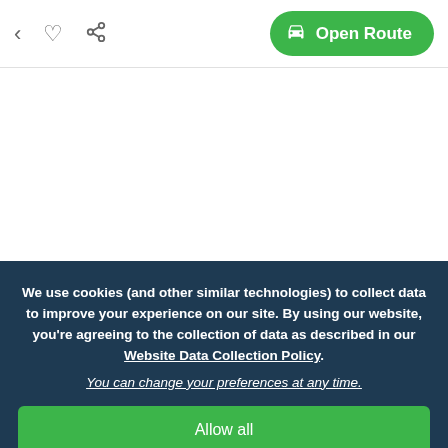< ♡ ⋲  Open Route
[Figure (screenshot): White blank area representing a map or content area]
We use cookies (and other similar technologies) to collect data to improve your experience on our site. By using our website, you're agreeing to the collection of data as described in our Website Data Collection Policy.
You can change your preferences at any time.
Allow all
Deny all